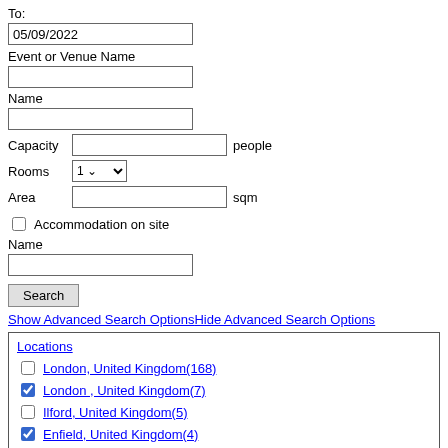To:
05/09/2022
Event or Venue Name
Name
Capacity  [input]  people
Rooms  1 [dropdown]
Area  [input]  sqm
Accommodation on site
Name
Search
Show Advanced Search OptionsHide Advanced Search Options
London, United Kingdom(168)
London , United Kingdom(7)
Ilford, United Kingdom(5)
Enfield, United Kingdom(4)
Croydon, United Kingdom(3)
Hounslow, United Kingdom(2)
Ealing, United Kingdom(2)